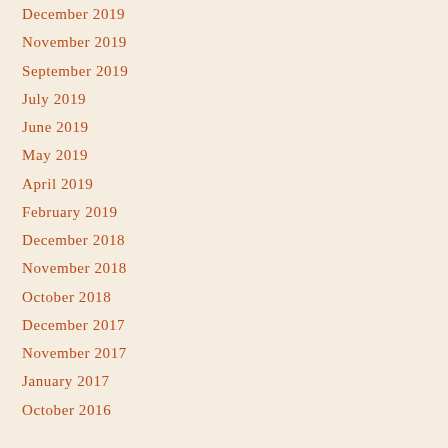December 2019
November 2019
September 2019
July 2019
June 2019
May 2019
April 2019
February 2019
December 2018
November 2018
October 2018
December 2017
November 2017
January 2017
October 2016